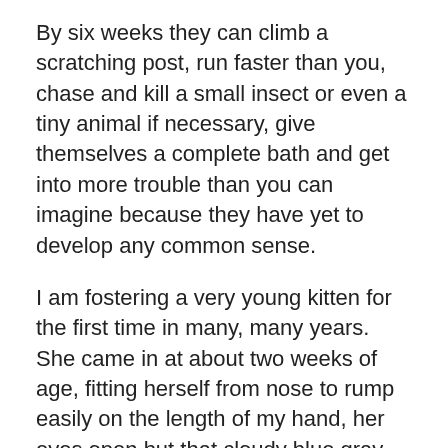By six weeks they can climb a scratching post, run faster than you, chase and kill a small insect or even a tiny animal if necessary, give themselves a complete bath and get into more trouble than you can imagine because they have yet to develop any common sense.
I am fostering a very young kitten for the first time in many, many years. She came in at about two weeks of age, fitting herself from nose to rump easily on the length of my hand, her eyes open but that cloudy blue gray that still doesn't focus. A friend's daughter heard her at night, tangled in brambles in a city lot, squeaking with a volume hard to believe in something that weighed just a few ounces. Her little life depended on that volume, though, and her persistence and vocal skill paid off in her rescue and is typically indicative of a cat with a strong will to live, able to face down most ills that may befall her through the